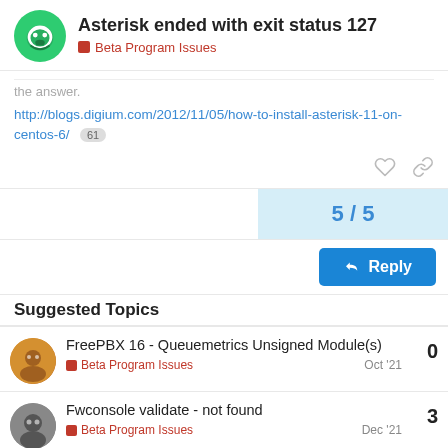Asterisk ended with exit status 127 | Beta Program Issues
the answer.
http://blogs.digium.com/2012/11/05/how-to-install-asterisk-11-on-centos-6/ 61
5 / 5
Reply
Suggested Topics
FreePBX 16 - Queuemetrics Unsigned Module(s)
Beta Program Issues
Oct '21
0
Fwconsole validate - not found
Beta Program Issues
Dec '21
3